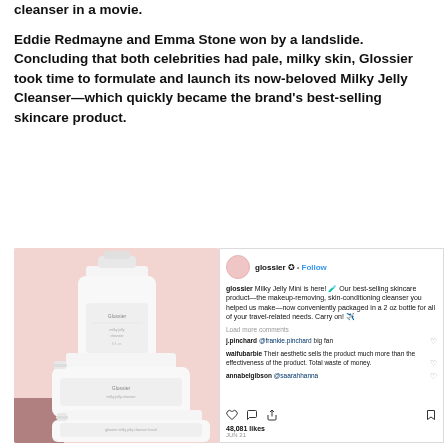cleanser in a movie.
Eddie Redmayne and Emma Stone won by a landslide. Concluding that both celebrities had pale, milky skin, Glossier took time to formulate and launch its now-beloved Milky Jelly Cleanser—which quickly became the brand's best-selling skincare product.
[Figure (photo): Instagram post showing three white Glossier Milky Jelly Cleanser bottles stacked on a pink background. The right panel shows the Instagram interface with username 'glossier', a caption about Milky Jelly Mini, comments, likes count of 48,081, and action icons.]